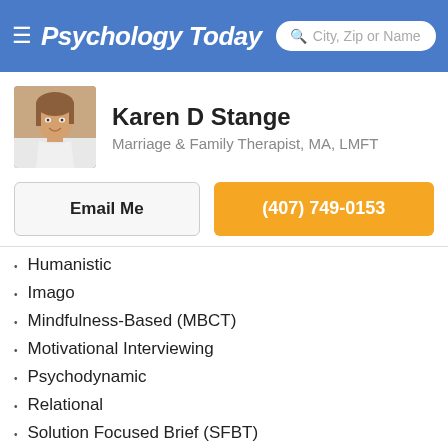Psychology Today — City, Zip or Name (search bar)
Karen D Stange
Marriage & Family Therapist, MA, LMFT
Email Me | (407) 749-0153
Humanistic
Imago
Mindfulness-Based (MBCT)
Motivational Interviewing
Psychodynamic
Relational
Solution Focused Brief (SFBT)
Trauma Focused
Modality
Individuals
Couples